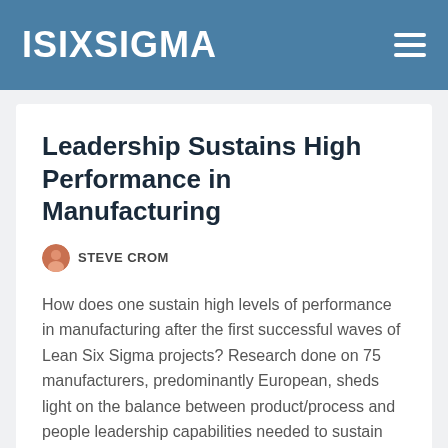ISIXSIGMA
Leadership Sustains High Performance in Manufacturing
STEVE CROM
How does one sustain high levels of performance in manufacturing after the first successful waves of Lean Six Sigma projects? Research done on 75 manufacturers, predominantly European, sheds light on the balance between product/process and people leadership capabilities needed to sustain high levels of performance. Of High Performers and Lagging Performers High Performers: sustaining high...